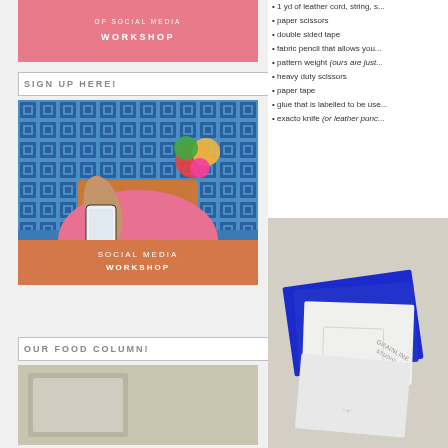[Figure (other): Pink banner for Social Media Workshop]
SIGN UP HERE!
[Figure (photo): Person sitting with orange bag, tropical flowers, blue geometric tile background, holding phone showing illustration - Social Media Workshop promotional image]
OUR FOOD COLUMN!
[Figure (photo): Food column image placeholder]
1 yd of leather cord, string, s...
paper scissors
double sided tape
fabric pencil that allows you...
pattern weight (ours are just...)
heavy duty scissors
paper tape
glue that is labelled to be use...
exacto knife (or leather punc...)
[Figure (photo): Grainline Studio pattern envelopes in blue and white on beige background]